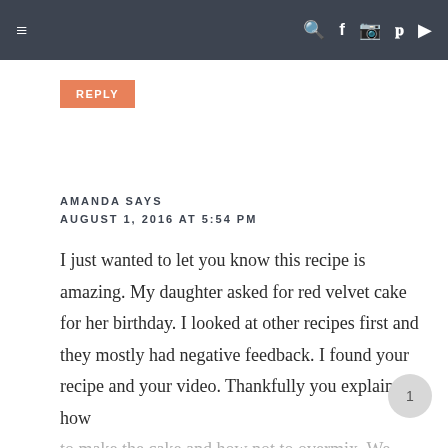≡   🔍 f 📷 𝗽 ▶
REPLY
AMANDA SAYS
AUGUST 1, 2016 AT 5:54 PM
I just wanted to let you know this recipe is amazing. My daughter asked for red velvet cake for her birthday. I looked at other recipes first and they mostly had negative feedback. I found your recipe and your video. Thankfully you explained how to make the cake and how not to overmix. We frosted the cake with turquoise